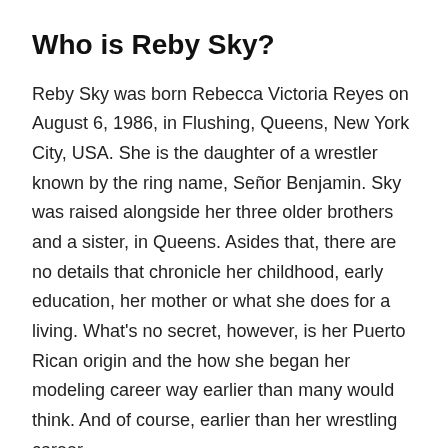Who is Reby Sky?
Reby Sky was born Rebecca Victoria Reyes on August 6, 1986, in Flushing, Queens, New York City, USA. She is the daughter of a wrestler known by the ring name, Señor Benjamin. Sky was raised alongside her three older brothers and a sister, in Queens. Asides that, there are no details that chronicle her childhood, early education, her mother or what she does for a living. What's no secret, however, is her Puerto Rican origin and the how she began her modeling career way earlier than many would think. And of course, earlier than her wrestling career.